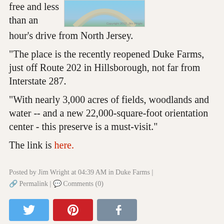[Figure (photo): Partial view of a curved architectural or natural structure against a blue sky, with copyright text 'Copyright 2012, Jim Wright']
free and less than an hour's drive from North Jersey.
"The place is the recently reopened Duke Farms, just off Route 202 in Hillsborough, not far from Interstate 287.
"With nearly 3,000 acres of fields, woodlands and water -- and a new 22,000-square-foot orientation center - this preserve is a must-visit."
The link is here.
Posted by Jim Wright at 04:39 AM in Duke Farms | Permalink | Comments (0)